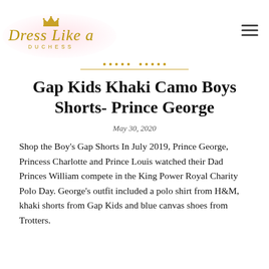[Figure (logo): Dress Like a Duchess logo with crown icon, cursive script and pink watercolor background]
Gap Kids Khaki Camo Boys Shorts- Prince George
May 30, 2020
Shop the Boy's Gap Shorts In July 2019, Prince George, Princess Charlotte and Prince Louis watched their Dad  Princes William compete in the King Power Royal Charity Polo Day. George's outfit included a polo shirt from H&M, khaki shorts from Gap Kids and blue canvas shoes from Trotters.